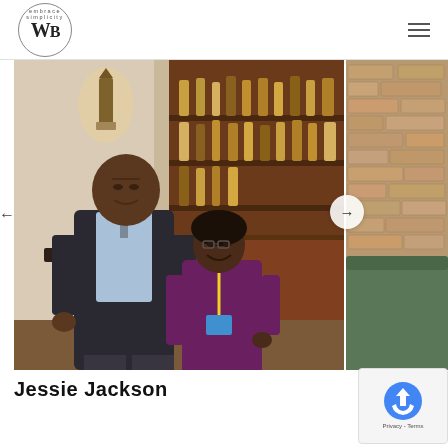WB (logo with 'embrace simplicity' arc text) and hamburger menu
[Figure (photo): Two people posing together inside a restaurant/bar setting. A tall man in a dark suit jacket with light blue shirt, and a woman wearing a purple top with a blue conference badge lanyard, smiling at the camera.]
[Figure (photo): Partial view of a brick wall interior, with a green upholstered seat visible at the bottom right.]
Jessie Jackson
[Figure (other): reCAPTCHA widget showing a logo and Privacy - Terms text.]